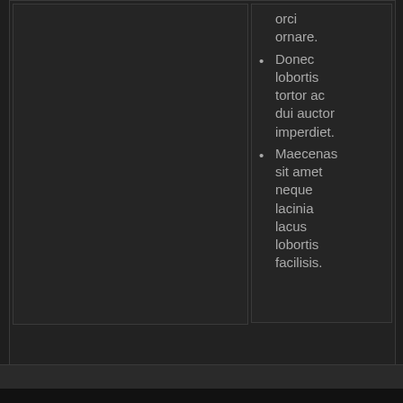orci ornare.
Donec lobortis tortor ac dui auctor imperdiet.
Maecenas sit amet neque lacinia lacus lobortis facilisis.